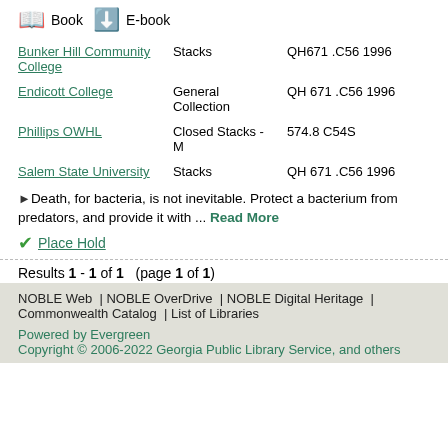Book  E-book
| Library | Location | Call Number |
| --- | --- | --- |
| Bunker Hill Community College | Stacks | QH671 .C56 1996 |
| Endicott College | General Collection | QH 671 .C56 1996 |
| Phillips OWHL | Closed Stacks - M | 574.8 C54S |
| Salem State University | Stacks | QH 671 .C56 1996 |
Death, for bacteria, is not inevitable. Protect a bacterium from predators, and provide it with ... Read More
Place Hold
Results 1 - 1 of 1  (page 1 of 1)
NOBLE Web  | NOBLE OverDrive  | NOBLE Digital Heritage  | Commonwealth Catalog  | List of Libraries
Powered by Evergreen
Copyright © 2006-2022 Georgia Public Library Service, and others